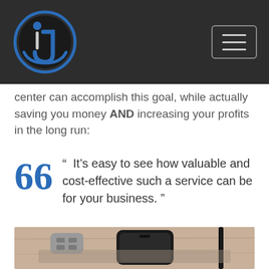Navigation header with logo and hamburger menu
center can accomplish this goal, while actually saving you money AND increasing your profits in the long run:
“ It’s easy to see how valuable and cost-effective such a service can be for your business. ”
[Figure (photo): Photo of a smartphone and remote control on a wooden surface]